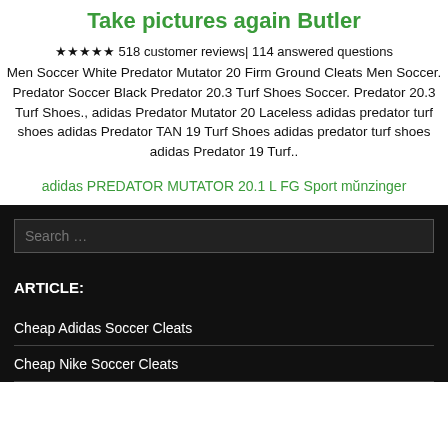Take pictures again Butler
★★★★★ 518 customer reviews| 114 answered questions
Men Soccer White Predator Mutator 20 Firm Ground Cleats Men Soccer. Predator Soccer Black Predator 20.3 Turf Shoes Soccer. Predator 20.3 Turf Shoes., adidas Predator Mutator 20 Laceless adidas predator turf shoes adidas Predator TAN 19 Turf Shoes adidas predator turf shoes adidas Predator 19 Turf..
adidas PREDATOR MUTATOR 20.1 L FG Sport münzinger
Search …
ARTICLE:
Cheap Adidas Soccer Cleats
Cheap Nike Soccer Cleats